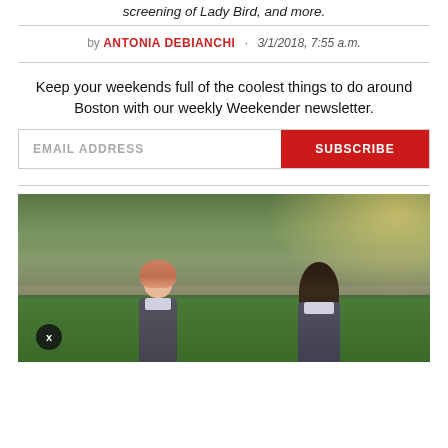screening of Lady Bird, and more.
by ANTONIA DEBIANCHI · 3/1/2018, 7:55 a.m.
Keep your weekends full of the coolest things to do around Boston with our weekly Weekender newsletter.
EMAIL ADDRESS   SUBSCRIBE
[Figure (photo): Two young women in dark school uniforms standing outdoors in front of a building with trees and green lawn. The person on the left has pink/red hair and the person on the right has long dark hair.]